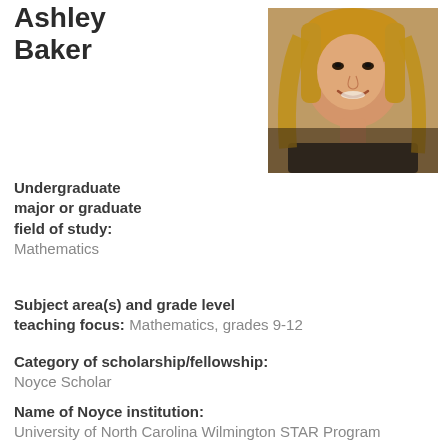Ashley Baker
[Figure (photo): Headshot photo of Ashley Baker, a young woman with long blonde hair, smiling, wearing a dark top]
Undergraduate major or graduate field of study: Mathematics
Subject area(s) and grade level teaching focus: Mathematics, grades 9-12
Category of scholarship/fellowship: Noyce Scholar
Name of Noyce institution: University of North Carolina Wilmington STAR Program